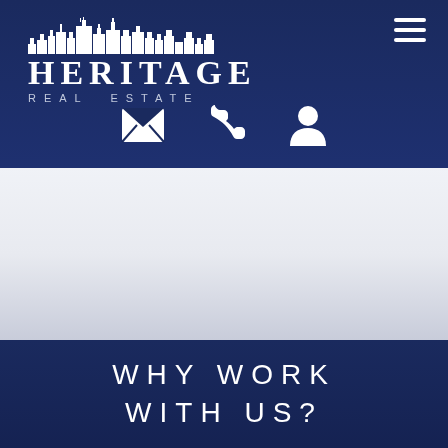[Figure (logo): Heritage Real Estate logo with stylized cityscape silhouette above the text HERITAGE in large serif letters and REAL ESTATE in smaller spaced letters below]
[Figure (infographic): Three white icons centered in header: envelope (email), telephone (phone), and person silhouette (account/login)]
[Figure (infographic): Hamburger menu icon (three horizontal white lines) in top right corner of header]
[Figure (photo): Light gray/silver background section serving as a hero image placeholder area]
WHY WORK WITH US?